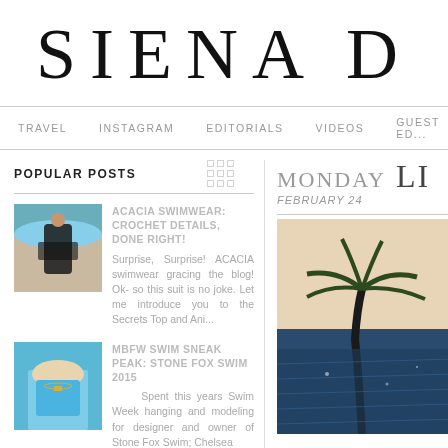SIENA D
TRAVEL  INSTAGRAM  EDITORIALS  VIDEOS  GUEST ED...
POPULAR POSTS
ACACIA SWIMWEAR: CROCHET DETAILS, DONE RIGHT! — Surprise, Surprise! ACACIA swimwear gracing the blog! Ok- so this suit is no joke. Let me introduce you to the Secrets Top and Ani...
MBFW SWIM SNEAK PEAK: STONE FOX SWIM 2015 — Spent this years Swim Week hanging and modeling for designer and owner of Stone Fox Swim; Chelsea
MONDAY
FEBRUARY 24
LI
[Figure (photo): Tropical scene with palm tree and beach sky]